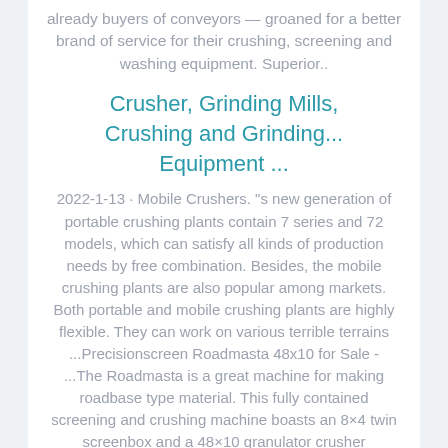already buyers of conveyors — groaned for a better brand of service for their crushing, screening and washing equipment. Superior..
Crusher, Grinding Mills, Crushing and Grinding... Equipment ...
2022-1-13 · Mobile Crushers. "s new generation of portable crushing plants contain 7 series and 72 models, which can satisfy all kinds of production needs by free combination. Besides, the mobile crushing plants are also popular among markets. Both portable and mobile crushing plants are highly flexible. They can work on various terrible terrains ...Precisionscreen Roadmasta 48x10 for Sale - ...The Roadmasta is a great machine for making roadbase type material. This fully contained screening and crushing machine boasts an 8×4 twin screenbox and a 48×10 granulator crusher